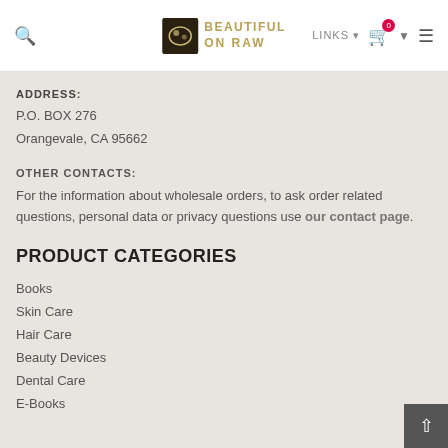LINKS | Beautiful on Raw | Navigation
ADDRESS:
P.O. BOX 276
Orangevale, CA 95662
OTHER CONTACTS:
For the information about wholesale orders, to ask order related questions, personal data or privacy questions use our contact page.
PRODUCT CATEGORIES
Books
Skin Care
Hair Care
Beauty Devices
Dental Care
E-Books